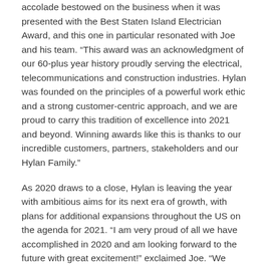accolade bestowed on the business when it was presented with the Best Staten Island Electrician Award, and this one in particular resonated with Joe and his team. “This award was an acknowledgment of our 60-plus year history proudly serving the electrical, telecommunications and construction industries. Hylan was founded on the principles of a powerful work ethic and a strong customer-centric approach, and we are proud to carry this tradition of excellence into 2021 and beyond. Winning awards like this is thanks to our incredible customers, partners, stakeholders and our Hylan Family.”
As 2020 draws to a close, Hylan is leaving the year with ambitious aims for its next era of growth, with plans for additional expansions throughout the US on the agenda for 2021. “I am very proud of all we have accomplished in 2020 and am looking forward to the future with great excitement!” exclaimed Joe. “We have learned to safely operate in the ‘new normal’ that is Covid-19 and our people are involved in the largest expansion of communications infrastructure in history. We welcome that challenge.
“Down the road, in three to five years, I can easily see us doubling the size of the company organically and through acquisitions as we continue to establish Hylan as a ‘go-to’ communications and smart